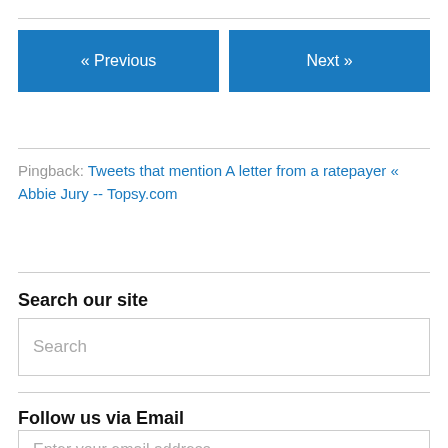« Previous    Next »
Pingback: Tweets that mention A letter from a ratepayer « Abbie Jury -- Topsy.com
Search our site
Search
Follow us via Email
Enter your email address